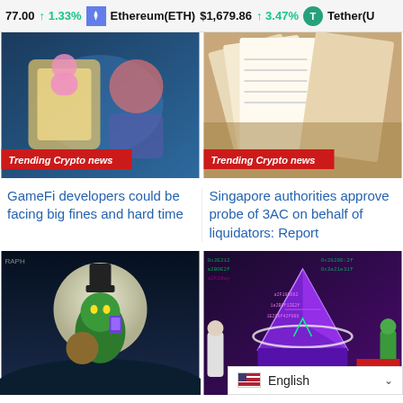77.00 ↑1.33% Ethereum(ETH) $1,679.86 ↑3.47% Tether(U
[Figure (illustration): Comic-style illustration with characters, labeled 'Trending Crypto news']
[Figure (photo): Photo of open book pages, labeled 'Trending Crypto news']
GameFi developers could be facing big fines and hard time
Singapore authorities approve probe of 3AC on behalf of liquidators: Report
[Figure (illustration): Illustration of Grinch-like character holding a phone in front of moon, crypto themed]
[Figure (illustration): Digital art showing Ethereum pyramid with code overlays and figures]
English